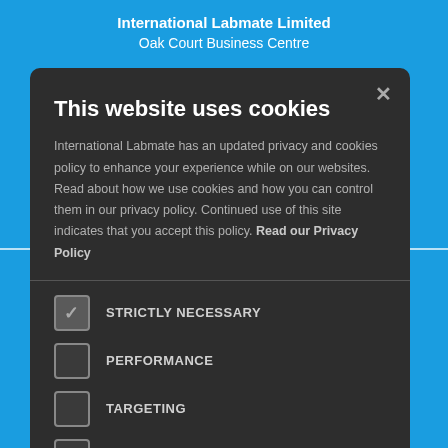International Labmate Limited
Oak Court Business Centre
This website uses cookies
International Labmate has an updated privacy and cookies policy to enhance your experience while on our websites. Read about how we use cookies and how you can control them in our privacy policy. Continued use of this site indicates that you accept this policy. Read our Privacy Policy
STRICTLY NECESSARY
PERFORMANCE
TARGETING
FUNCTIONALITY
I AGREE
DECLINE ALL